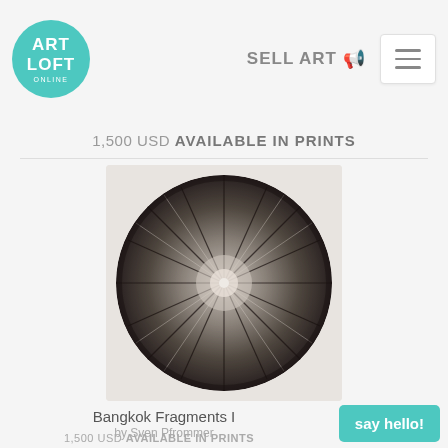ART LOFT
SELL ART
1,500 USD AVAILABLE IN PRINTS
[Figure (photo): Circular kaleidoscopic black and white photograph of Bangkok city fragments radiating from a central point, creating a mandala-like pattern]
Bangkok Fragments I
by Sven Pfrommer
1,500 USD AVAILABLE IN PRINTS
say hello!